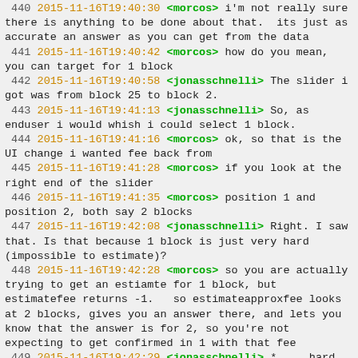440 2015-11-16T19:40:30 <morcos> i'm not really sure there is anything to be done about that.  its just as accurate an answer as you can get from the data
441 2015-11-16T19:40:42 <morcos> how do you mean, you can target for 1 block
442 2015-11-16T19:40:58 <jonasschnelli> The slider i got was from block 25 to block 2.
443 2015-11-16T19:41:13 <jonasschnelli> So, as enduser i would whish i could select 1 block.
444 2015-11-16T19:41:16 <morcos> ok, so that is the UI change i wanted fee back from
445 2015-11-16T19:41:28 <morcos> if you look at the right end of the slider
446 2015-11-16T19:41:35 <morcos> position 1 and position 2, both say 2 blocks
447 2015-11-16T19:42:08 <jonasschnelli> Right. I saw that. Is that because 1 block is just very hard (impossible to estimate)?
448 2015-11-16T19:42:28 <morcos> so you are actually trying to get an estiamte for 1 block, but estimatefee returns -1.   so estimateapproxfee looks at 2 blocks, gives you an answer there, and lets you know that the answer is for 2, so you're not expecting to get confirmed in 1 with that fee
449 2015-11-16T19:42:29 <jonasschnelli> * ... hard (impossible) to estimate?
450 2015-11-16T19:42:53 <morcos> yes, thats correct, the opinion does not do that statistically but there are few will